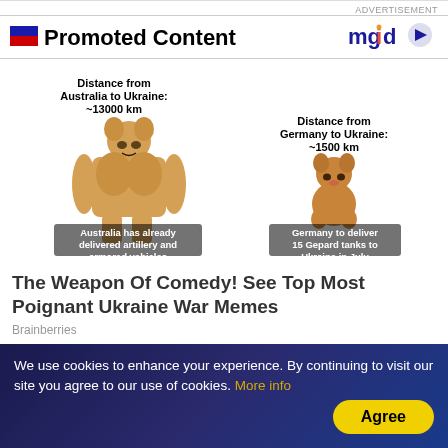ADVERTISEMENT
Promoted Content
[Figure (logo): mgid logo with play button icon]
[Figure (photo): Meme image showing muscular doge dog labeled 'Distance from Australia to Ukraine: ~13000 km / Australia has already delivered artillery and armored vehicles' vs small normal doge labeled 'Distance from Germany to Ukraine: ~1500 km / Germany to deliver 15 Gepard tanks to Ukraine in July']
The Weapon Of Comedy! See Top Most Poignant Ukraine War Memes
Brainberries
We use cookies to enhance your experience. By continuing to visit our site you agree to our use of cookies. More info